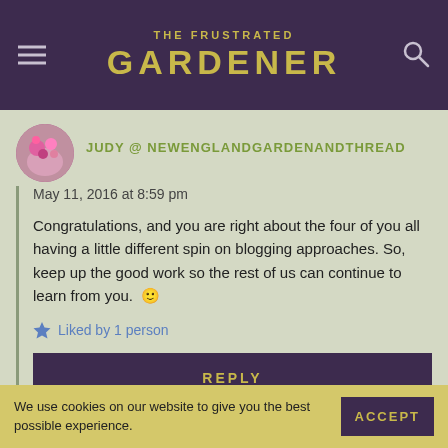THE FRUSTRATED GARDENER
JUDY @ NEWENGLANDGARDENANDTHREAD
May 11, 2016 at 8:59 pm
Congratulations, and you are right about the four of you all having a little different spin on blogging approaches. So, keep up the good work so the rest of us can continue to learn from you. 🙂
Liked by 1 person
REPLY
THE FRUSTRATED GARDENER
We use cookies on our website to give you the best possible experience.
ACCEPT